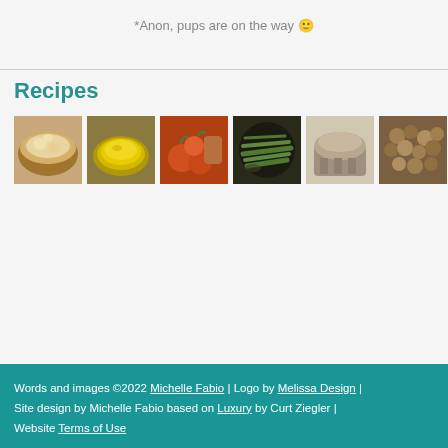*Anon, pups are on the way 🙂
Recipes
[Figure (photo): Six food photos in a horizontal strip: bread, olive oil in bowl, tomatoes/vegetables, green beans, bread loaf, nuts/clusters]
Words and images ©2022 Michelle Fabio | Logo by Melissa Design | Site design by Michelle Fabio based on Luxury by Curt Ziegler | Website Terms of Use